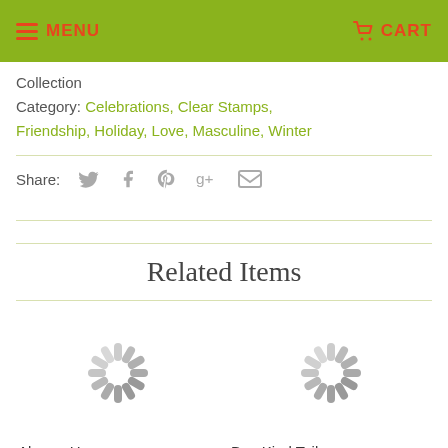MENU  CART
Collection
Category: Celebrations, Clear Stamps, Friendship, Holiday, Love, Masculine, Winter
Share:
Related Items
Always Here Stamp Set
Bee Kind Toile Stamp Set